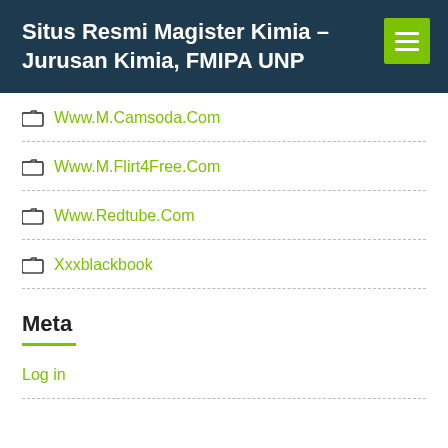Situs Resmi Magister Kimia – Jurusan Kimia, FMIPA UNP
Www.M.Camsoda.Com
Www.M.Flirt4Free.Com
Www.Redtube.Com
Xxxblackbook
Meta
Log in